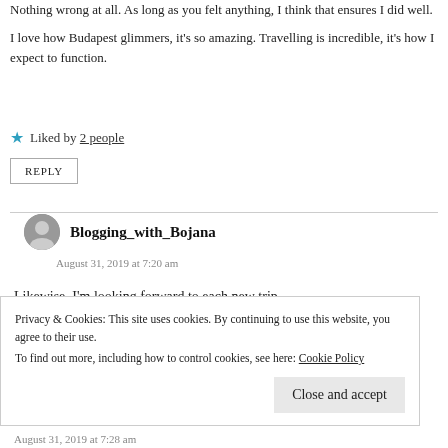Nothing wrong at all. As long as you felt anything, I think that ensures I did well.
I love how Budapest glimmers, it's so amazing. Travelling is incredible, it's how I expect to function.
★ Liked by 2 people
REPLY
Blogging_with_Bojana
August 31, 2019 at 7:20 am
Likewise. I'm looking forward to each new trip.
Privacy & Cookies: This site uses cookies. By continuing to use this website, you agree to their use.
To find out more, including how to control cookies, see here: Cookie Policy
Close and accept
August 31, 2019 at 7:28 am